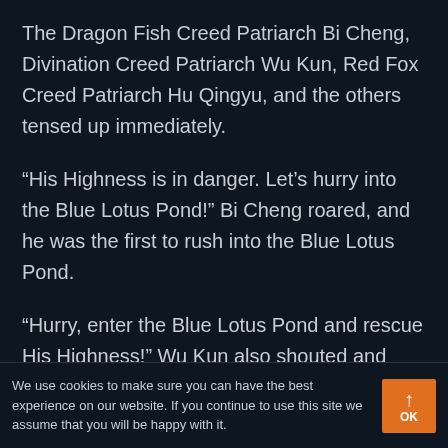The Dragon Fish Creed Patriarch Bi Cheng, Divination Creed Patriarch Wu Kun, Red Fox Creed Patriarch Hu Qingyu, and the others tensed up immediately.
“His Highness is in danger. Let’s hurry into the Blue Lotus Pond!” Bi Cheng roared, and he was the first to rush into the Blue Lotus Pond.
“Hurry, enter the Blue Lotus Pond and rescue His Highness!” Wu Kun also shouted and then
We use cookies to make sure you can have the best experience on our website. If you continue to use this site we assume that you will be happy with it.